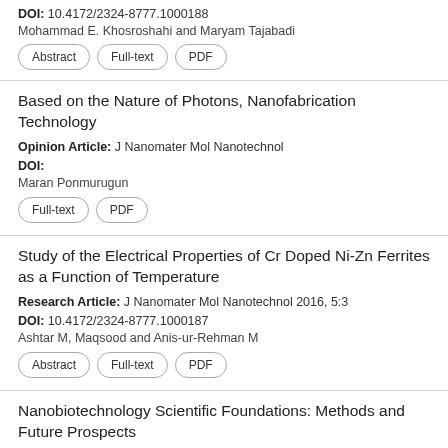DOI: 10.4172/2324-8777.1000188
Mohammad E. Khosroshahi and Maryam Tajabadi
Abstract | Full-text | PDF
Based on the Nature of Photons, Nanofabrication Technology
Opinion Article: J Nanomater Mol Nanotechnol
DOI:
Maran Ponmurugun
Full-text | PDF
Study of the Electrical Properties of Cr Doped Ni-Zn Ferrites as a Function of Temperature
Research Article: J Nanomater Mol Nanotechnol 2016, 5:3
DOI: 10.4172/2324-8777.1000187
Ashtar M, Maqsood and Anis-ur-Rehman M
Abstract | Full-text | PDF
Nanobiotechnology Scientific Foundations: Methods and Future Prospects